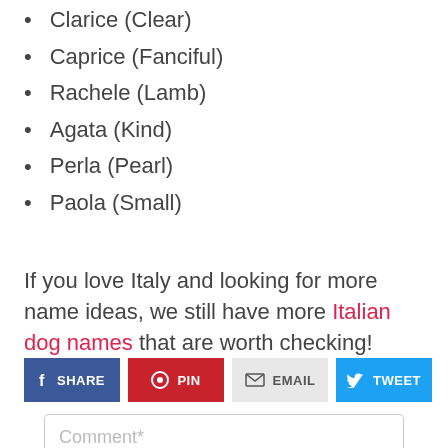Clarice (Clear)
Caprice (Fanciful)
Rachele (Lamb)
Agata (Kind)
Perla (Pearl)
Paola (Small)
If you love Italy and looking for more name ideas, we still have more Italian dog names that are worth checking!
[Figure (infographic): Social sharing buttons: SHARE (Facebook, blue), PIN (Pinterest, red), EMAIL (light grey), TWEET (Twitter, cyan)]
Comment*